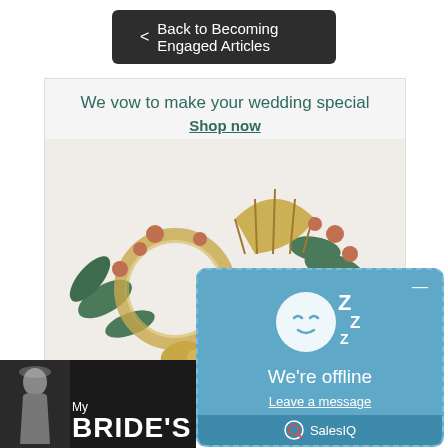< Back to Becoming Engaged Articles
[Figure (illustration): Advertisement showing decorative gold and floral jewelry hair accessory with text 'We vow to make your wedding special' and 'Shop now' link]
[Figure (screenshot): SalesIQ chat widget showing offline status with sleeping face icon, text 'We're offline', 'Leave a message' link, and SalesIQ branding at bottom]
[Figure (photo): Bottom portion of a magazine or website banner showing 'My BRIDE'S' text in white on dark background with partial image of a bride]